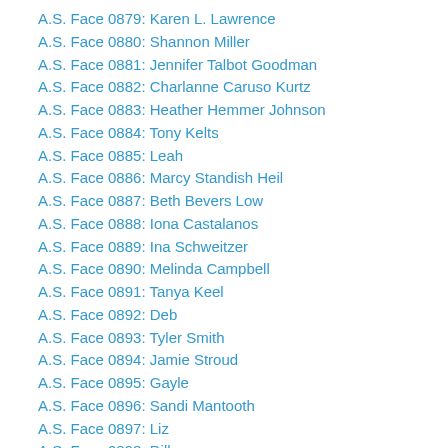A.S. Face 0879: Karen L. Lawrence
A.S. Face 0880: Shannon Miller
A.S. Face 0881: Jennifer Talbot Goodman
A.S. Face 0882: Charlanne Caruso Kurtz
A.S. Face 0883: Heather Hemmer Johnson
A.S. Face 0884: Tony Kelts
A.S. Face 0885: Leah
A.S. Face 0886: Marcy Standish Heil
A.S. Face 0887: Beth Bevers Low
A.S. Face 0888: Iona Castalanos
A.S. Face 0889: Ina Schweitzer
A.S. Face 0890: Melinda Campbell
A.S. Face 0891: Tanya Keel
A.S. Face 0892: Deb
A.S. Face 0893: Tyler Smith
A.S. Face 0894: Jamie Stroud
A.S. Face 0895: Gayle
A.S. Face 0896: Sandi Mantooth
A.S. Face 0897: Liz
A.S. Face 0898: Dillon